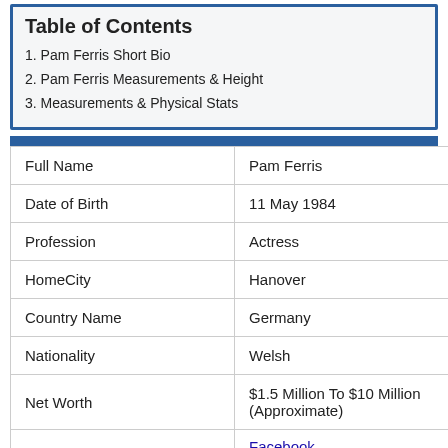Table of Contents
1. Pam Ferris Short Bio
2. Pam Ferris Measurements & Height
3. Measurements & Physical Stats
| Full Name | Pam Ferris |
| Date of Birth | 11 May 1984 |
| Profession | Actress |
| HomeCity | Hanover |
| Country Name | Germany |
| Nationality | Welsh |
| Net Worth | $1.5 Million To $10 Million (Approximate) |
| Social Profile | Facebook
Instagram |